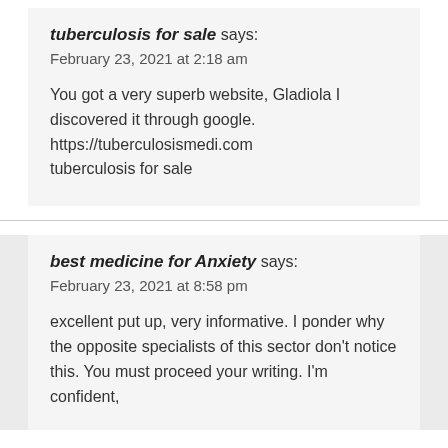tuberculosis for sale says:
February 23, 2021 at 2:18 am

You got a very superb website, Gladiola I discovered it through google.
https://tuberculosismedi.com
tuberculosis for sale
best medicine for Anxiety says:
February 23, 2021 at 8:58 pm

excellent put up, very informative. I ponder why the opposite specialists of this sector don't notice this. You must proceed your writing. I'm confident,